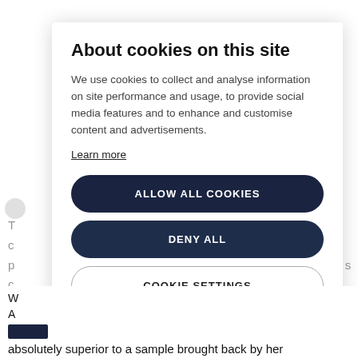About cookies on this site
We use cookies to collect and analyse information on site performance and usage, to provide social media features and to enhance and customise content and advertisements.
Learn more
ALLOW ALL COOKIES
DENY ALL
COOKIE SETTINGS
absolutely superior to a sample brought back by her